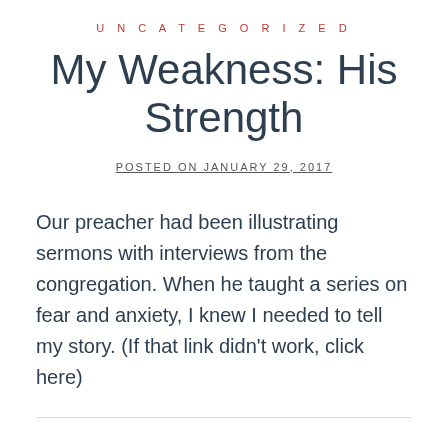UNCATEGORIZED
My Weakness: His Strength
POSTED ON JANUARY 29, 2017
Our preacher had been illustrating sermons with interviews from the congregation. When he taught a series on fear and anxiety, I knew I needed to tell my story. (If that link didn't work, click here)
UNCATEGORIZED
Chrystelle